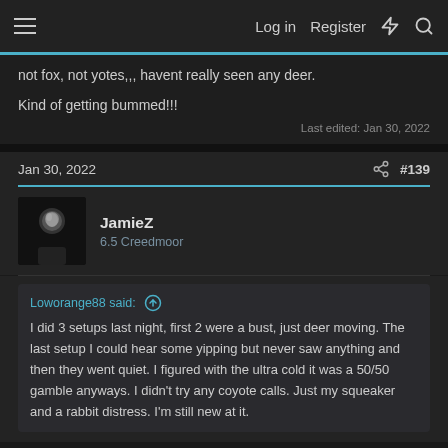Log in  Register
not fox, not yotes,,, havent really seen any deer.

Kind of getting bummed!!!
Last edited: Jan 30, 2022
Jan 30, 2022  #139
JamieZ
6.5 Creedmoor
Loworange88 said: ↑

I did 3 setups last night, first 2 were a bust, just deer moving. The last setup I could hear some yipping but never saw anything and then they went quiet. I figured with the ultra cold it was a 50/50 gamble anyways. I didn't try any coyote calls. Just my squeaker and a rabbit distress. I'm still new at it.